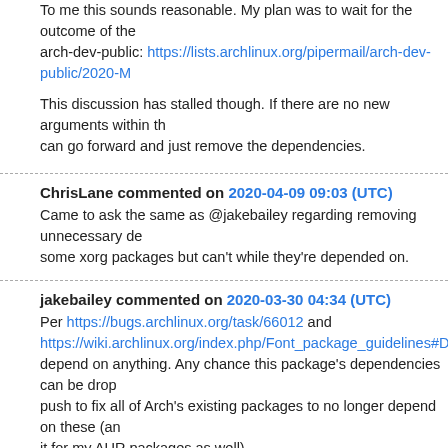To me this sounds reasonable. My plan was to wait for the outcome of the arch-dev-public: https://lists.archlinux.org/pipermail/arch-dev-public/2020-M
This discussion has stalled though. If there are no new arguments within the can go forward and just remove the dependencies.
ChrisLane commented on 2020-04-09 09:03 (UTC)
Came to ask the same as @jakebailey regarding removing unnecessary de some xorg packages but can't while they're depended on.
jakebailey commented on 2020-03-30 04:34 (UTC)
Per https://bugs.archlinux.org/task/66012 and https://wiki.archlinux.org/index.php/Font_package_guidelines#Dependencie depend on anything. Any chance this package's dependencies can be dro push to fix all of Arch's existing packages to no longer depend on these (an it for my AUR packages as well).
specter119 commented on 2019-11-11 06:27 (UTC)
I add simfang.ttf simhei.ttf simkai.ttf to ttf_ms_win10_zh_cn https://gist.github.com/specter119/a7a4498d04eb5294fae09fea165c0f68
qpalz commented on 2019-07-12 09:52 (UTC)
Beyan: Thank you for your reply. I have downloaded the Traditional Chinesse